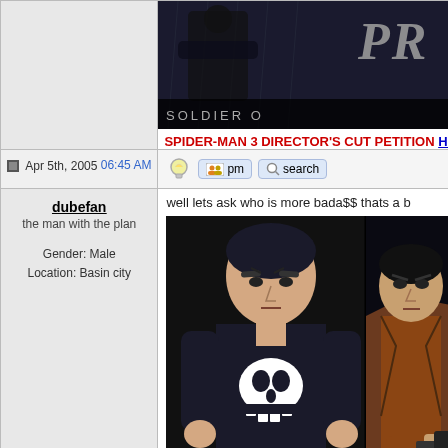[Figure (screenshot): Forum post banner image showing a dark action figure with text 'PR' and 'SOLDIER O' at bottom]
SPIDER-MAN 3 DIRECTOR'S CUT PETITION HE
Apr 5th, 2005 06:45 AM
dubefan
the man with the plan

Gender: Male
Location: Basin city
well lets ask who is more bada$$ thats a b
[Figure (illustration): Comic book art showing the Punisher in black costume with skull and a man in brown coat pointing a gun]